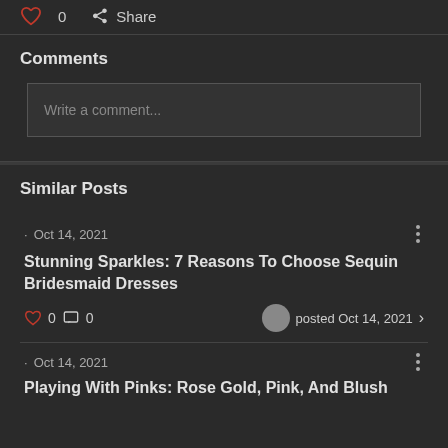0  Share
Comments
Write a comment...
Similar Posts
· Oct 14, 2021
Stunning Sparkles: 7 Reasons To Choose Sequin Bridesmaid Dresses
0  0  posted Oct 14, 2021
· Oct 14, 2021
Playing With Pinks: Rose Gold, Pink, And Blush